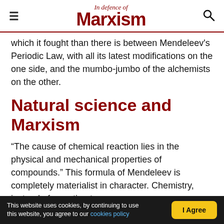In Defence of Marxism
which it fought than there is between Mendeleev's Periodic Law, with all its latest modifications on the one side, and the mumbo-jumbo of the alchemists on the other.
Natural science and Marxism
“The cause of chemical reaction lies in the physical and mechanical properties of compounds.” This formula of Mendeleev is completely materialist in character. Chemistry, instead of resorting to some
This website uses cookies, by continuing to use this website, you agree to our cookies policy | I Agree